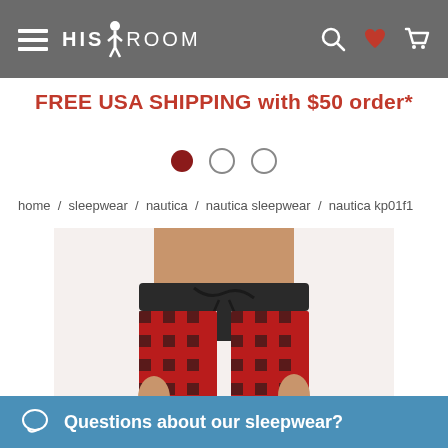HIS ROOM — navigation header with hamburger menu, search, wishlist, and cart icons
FREE USA SHIPPING with $50 order*
[Figure (other): Carousel indicator dots: one filled dark red, two empty circles]
home / sleepwear / nautica / nautica sleepwear / nautica kp01f1
[Figure (photo): Man wearing red and black buffalo check plaid pajama pants with dark drawstring waistband, shown from waist down]
Questions about our sleepwear?